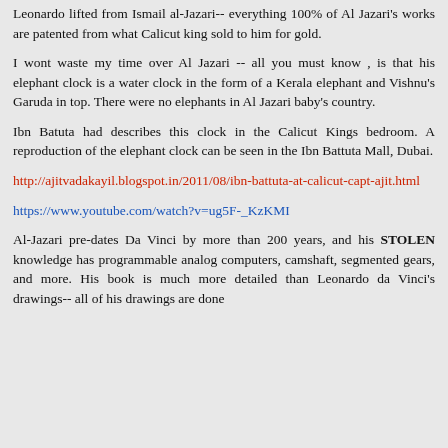Leonardo lifted from Ismail al-Jazari-- everything 100% of Al Jazari's works are patented from what Calicut king sold to him for gold.
I wont waste my time over Al Jazari -- all you must know , is that his elephant clock is a water clock in the form of a Kerala elephant and Vishnu's Garuda in top. There were no elephants in Al Jazari baby's country.
Ibn Batuta had describes this clock in the Calicut Kings bedroom. A reproduction of the elephant clock can be seen in the Ibn Battuta Mall, Dubai.
http://ajitvadakayil.blogspot.in/2011/08/ibn-battuta-at-calicut-capt-ajit.html
https://www.youtube.com/watch?v=ug5F-_KzKMI
Al-Jazari pre-dates Da Vinci by more than 200 years, and his STOLEN knowledge has programmable analog computers, camshaft, segmented gears, and more. His book is much more detailed than Leonardo da Vinci's drawings-- all of his drawings are done...